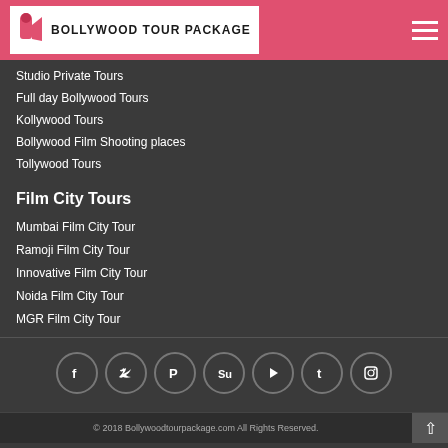BOLLYWOOD TOUR PACKAGE
Studio Private Tours
Full day Bollywood Tours
Kollywood Tours
Bollywood Film Shooting places
Tollywood Tours
Film City Tours
Mumbai Film City Tour
Ramoji Film City Tour
Innovative Film City Tour
Noida Film City Tour
MGR Film City Tour
© 2018 Bollywoodtourpackage.com All Rights Reserved.